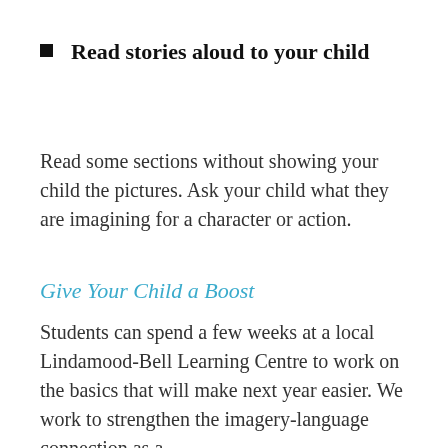Read stories aloud to your child
Read some sections without showing your child the pictures. Ask your child what they are imagining for a character or action.
Give Your Child a Boost
Students can spend a few weeks at a local Lindamood-Bell Learning Centre to work on the basics that will make next year easier. We work to strengthen the imagery-language connection as a foundation for reading, spelling, comprehension and critical thinking.